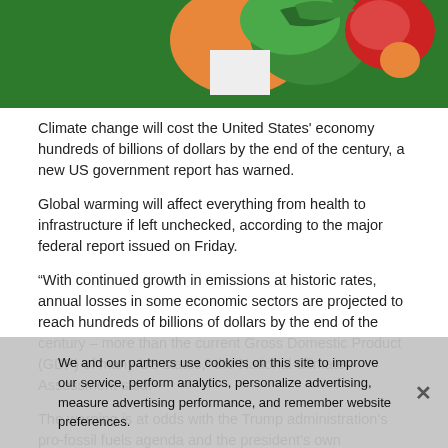[Figure (illustration): Cartoon illustration showing animated characters on a green background, partially visible at the top of the page]
Climate change will cost the United States' economy hundreds of billions of dollars by the end of the century, a new US government report has warned.
Global warming will affect everything from health to infrastructure if left unchecked, according to the major federal report issued on Friday.
“With continued growth in emissions at historic rates, annual losses in some economic sectors are projected to reach hundreds of billions of dollars by the end of the century – more than the current Gross Domestic Product (GDP) of many US states,” the National Climate Assessment said.
The warning is at odds with the Trump administration’s pro-fossil fuels agenda and the president’s own statements on global warming.
Global warming will reportedly significantly undermine the availability of water, alter coastlines, and boost costs in industries from farming, to fisheries and energy production, the
We and our partners use cookies on this site to improve our service, perform analytics, personalize advertising, measure advertising performance, and remember website preferences.